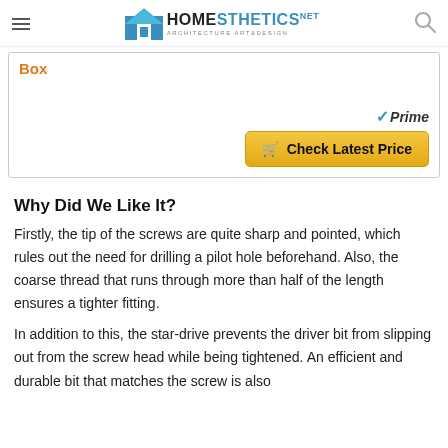Homesthetics — Architecture Art&Design
Box
[Figure (other): Amazon Prime checkmark and Prime logo]
Check Latest Price
Why Did We Like It?
Firstly, the tip of the screws are quite sharp and pointed, which rules out the need for drilling a pilot hole beforehand. Also, the coarse thread that runs through more than half of the length ensures a tighter fitting.
In addition to this, the star-drive prevents the driver bit from slipping out from the screw head while being tightened. An efficient and durable bit that matches the screw is also